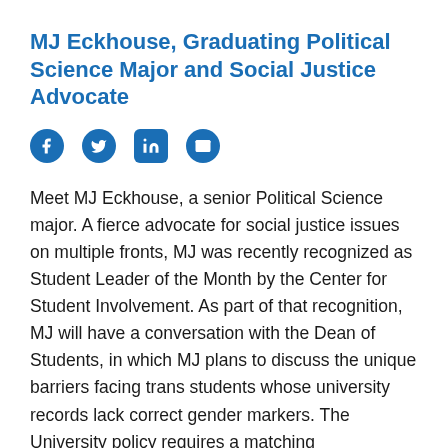MJ Eckhouse, Graduating Political Science Major and Social Justice Advocate
[Figure (other): Social media sharing icons: Facebook, Twitter, LinkedIn, Email]
Meet MJ Eckhouse, a senior Political Science major. A fierce advocate for social justice issues on multiple fronts, MJ was recently recognized as Student Leader of the Month by the Center for Student Involvement. As part of that recognition, MJ will have a conversation with the Dean of Students, in which MJ plans to discuss the unique barriers facing trans students whose university records lack correct gender markers. The University policy requires a matching government-issued ID, which in turn, requires a doctor's signature and payment of fees, for gender markers on transcripts. MJ would like to see these barriers removed so that student